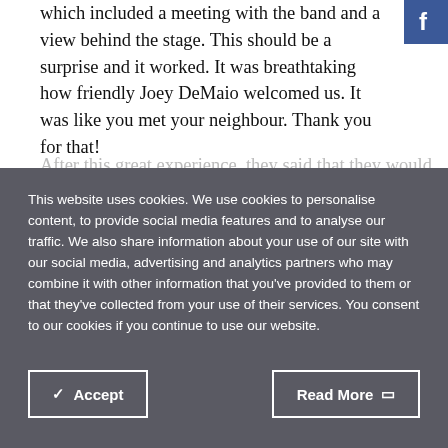which included a meeting with the band and a view behind the stage. This should be a surprise and it worked. It was breathtaking how friendly Joey DeMaio welcomed us. It was like you met your neighbour. Thank you for that!
[Figure (logo): Facebook logo icon (white 'f' on blue background) in top right corner]
This website uses cookies. We use cookies to personalise content, to provide social media features and to analyse our traffic. We also share information about your use of our site with our social media, advertising and analytics partners who may combine it with other information that you've provided to them or that they've collected from your use of their services. You consent to our cookies if you continue to use our website.